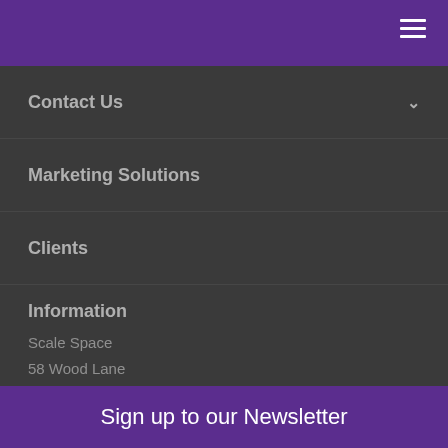☰
Contact Us
Marketing Solutions
Clients
Information
Scale Space
58 Wood Lane
Sign up to our Newsletter